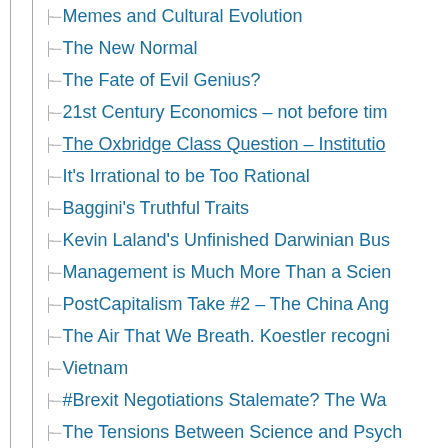Memes and Cultural Evolution
The New Normal
The Fate of Evil Genius?
21st Century Economics – not before tim…
The Oxbridge Class Question – Institutio…
It's Irrational to be Too Rational
Baggini's Truthful Traits
Kevin Laland's Unfinished Darwinian Bus…
Management is Much More Than a Scien…
PostCapitalism Take #2 – The China Ang…
The Air That We Breath. Koestler recogni…
Vietnam
#Brexit Negotiations Stalemate? The Wa…
The Tensions Between Science and Psych…
Accelerationism – Careful what you wish…
September 2017 (17)